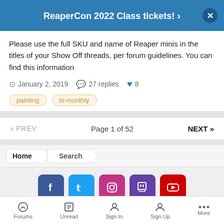ReaperCon 2022 Class tickets! ›
Please use the full SKU and name of Reaper minis in the titles of your Show Off threads, per forum guidelines. You can find this information
January 2, 2019   27 replies   8
painting
bi-monthly
« PREV   Page 1 of 52   NEXT »
Home  Search
[Figure (other): Social media icons: Facebook, Twitter, Instagram, Twitch, YouTube]
IPS Theme by IPSFocus   Theme ▾   Contact Us
Forums   Unread   Sign In   Sign Up   More